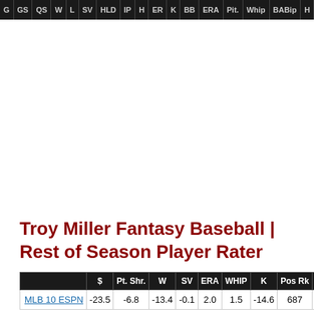G | GS | QS | W | L | SV | HLD | IP | H | ER | K | BB | ERA | Pit. | Whip | BABip | H...
Troy Miller Fantasy Baseball | Rest of Season Player Rater
|  | $ | Pt. Shr. | W | SV | ERA | WHIP | K | Pos Rk | Tot Rk |
| --- | --- | --- | --- | --- | --- | --- | --- | --- | --- |
| MLB 10 ESPN | -23.5 | -6.8 | -13.4 | -0.1 | 2.0 | 1.5 | -14.6 | 687 | 1767 |